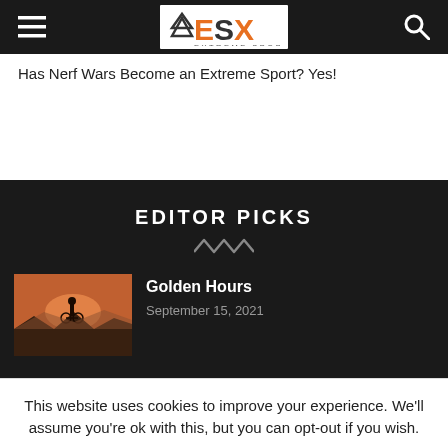ESX Extreme Sports X
Has Nerf Wars Become an Extreme Sport? Yes!
EDITOR PICKS
Golden Hours
September 15, 2021
This website uses cookies to improve your experience. We'll assume you're ok with this, but you can opt-out if you wish.
Cookie settings
ACCEPT